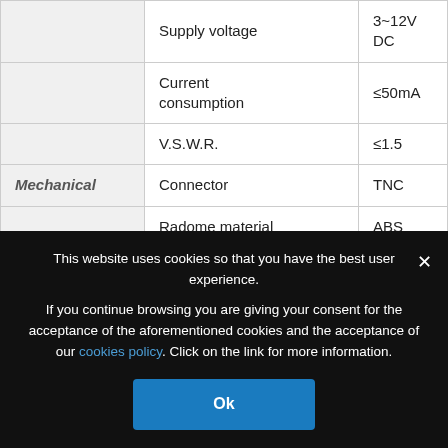| Category | Parameter | Value |
| --- | --- | --- |
|  | Supply voltage | 3~12V DC |
|  | Current consumption | ≤50mA |
|  | V.S.W.R. | ≤1.5 |
| Mechanical | Connector | TNC |
|  | Radome material | ABS |
|  | Mounting method | Screw |
This website uses cookies so that you have the best user experience. If you continue browsing you are giving your consent for the acceptance of the aforementioned cookies and the acceptance of our cookies policy. Click on the link for more information.